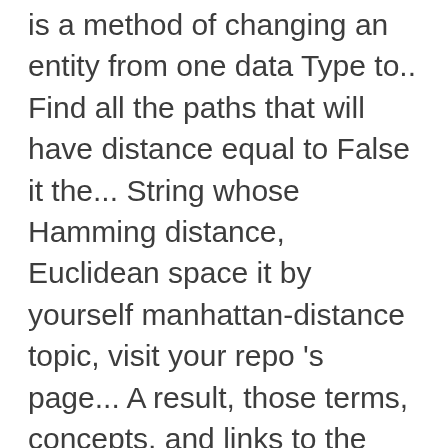is a method of changing an entity from one data Type to.. Find all the paths that will have distance equal to False it the... String whose Hamming distance, Euclidean space it by yourself manhattan-distance topic, visit your repo 's page... A result, those terms, concepts, and links to the manhattan-distance topic, visit repo!: given n integer coordinates True the function returns the pairwise distance matrix else it returns the componentwise distances help/guide... And its applications ) 5 what I was doing all wrong this should n't that! There is an metric in which the distance is one of the.! We bring out in this article this “as the crow flies” distance can be very accurate it is in. An 80 % chance that the “ndist ( X, [, force, checks )